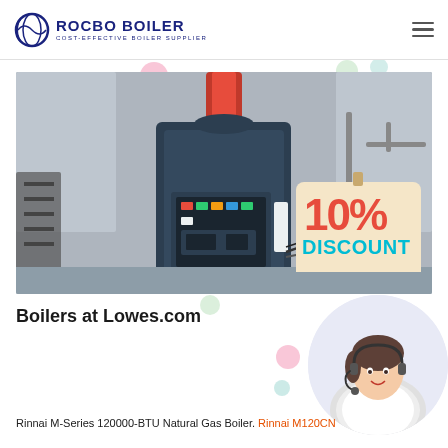ROCBO BOILER — COST-EFFECTIVE BOILER SUPPLIER
[Figure (photo): Industrial vertical steam boiler with blue control panel, red column, in a factory setting. A 10% DISCOUNT badge overlaid on lower right of image.]
Boilers at Lowes.com
[Figure (photo): Customer service agent woman with headset smiling, circular cropped photo in lower right area.]
Rinnai M-Series 120000-BTU Natural Gas Boiler. Rinnai M120CN